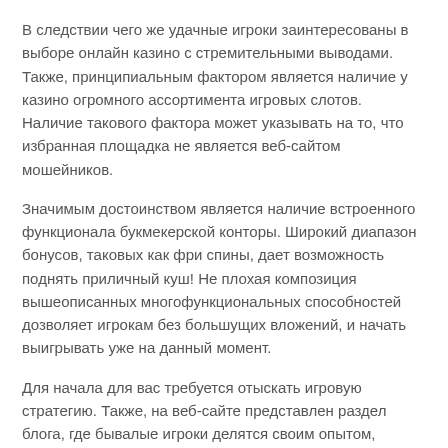В следствии чего же удачные игроки заинтересованы в выборе онлайн казино с стремительными выводами. Также, принципиальным фактором является наличие у казино огромного ассортимента игровых слотов. Наличие такового фактора может указывать на то, что избранная площадка не является веб-сайтом мошейников.
Значимым достоинством является наличие встроенного функционала букмекерской конторы. Широкий диапазон бонусов, таковых как фри спины, дает возможность поднять приличный куш! Не плохая композиция вышеописанных многофункциональных способностей дозволяет игрокам без большущих вложений, и начать выигрывать уже на данный момент.
Для начала для вас требуется отыскать игровую стратегию. Также, на веб-сайте представлен раздел блога, где бывалые игроки делятся своим опытом, помогая новеньким совершать свои 1-ые победы. К примеру, мы не рекомендуем сходу играться на больших ставках, так как это подразумевает